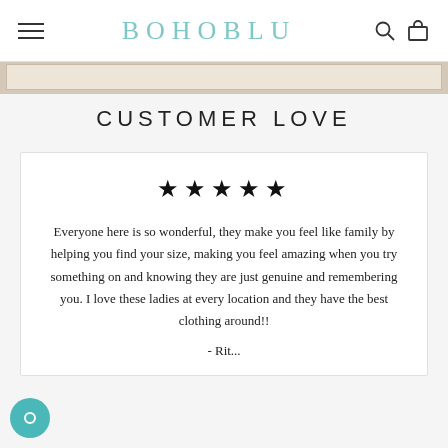BOHOBLU
CUSTOMER LOVE
★★★★★
Everyone here is so wonderful, they make you feel like family by helping you find your size, making you feel amazing when you try something on and knowing they are just genuine and remembering you. I love these ladies at every location and they have the best clothing around!!